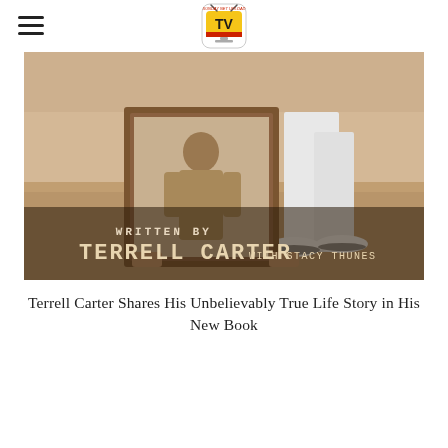Sunday Net Upload TV logo with hamburger menu
[Figure (photo): Book cover photo showing a person holding a framed vintage photo, standing outdoors on dirt ground. Text overlay reads: WRITTEN BY TERRELL CARTER WITH STACY THUNES]
Terrell Carter Shares His Unbelievably True Life Story in His New Book